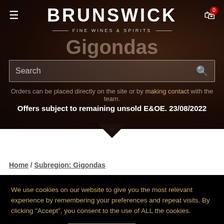BRUNSWICK FINE WINES & SPIRITS
Gigondas
Orders can be placed directly on the site or by making contact with the team.
Offers subject to remaining unsold E&OE. 23/08/2022
Home / Subregion: Gigondas
We use cookies on our website to give you the most relevant experience by remembering your preferences and repeat visits. By clicking “Accept”, you consent to the use of ALL the cookies.
Cookie settings
ACCEPT